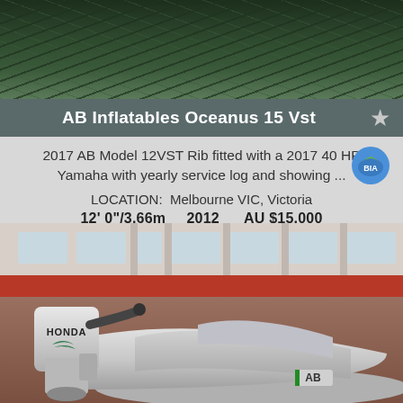[Figure (photo): Top photo showing dark water surface with greenish reflections]
AB Inflatables Oceanus 15 Vst
2017 AB Model 12VST Rib fitted with a 2017 40 HP Yamaha with yearly service log and showing ...
LOCATION:  Melbourne VIC, Victoria
12' 0"/3.66m     2012     AU $15,000
[Figure (photo): Photo of AB inflatable RIB boat with Honda outboard motor, grey hull, AB logo, parked on red pavement near building]